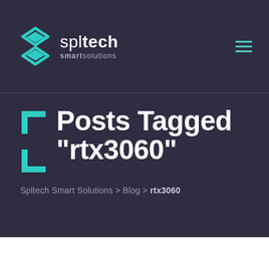spl tech smart solutions
Posts Tagged "rtx3060"
Spltech Smart Solutions > Blog > rtx3060